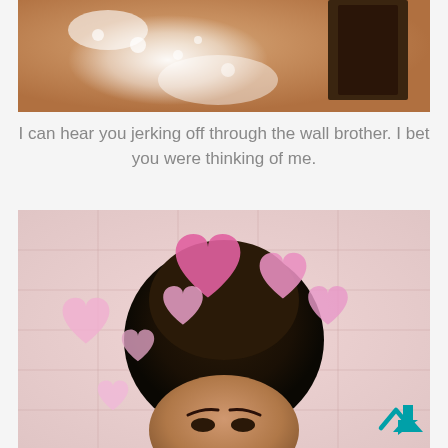[Figure (photo): Close-up photo of a person's skin/shoulder area with soap bubbles/foam and dark hair visible]
I can hear you jerking off through the wall brother. I bet you were thinking of me.
[Figure (photo): Photo of a person with dark hair in a bun, pink heart emojis/stickers overlaid, pink tiled background]